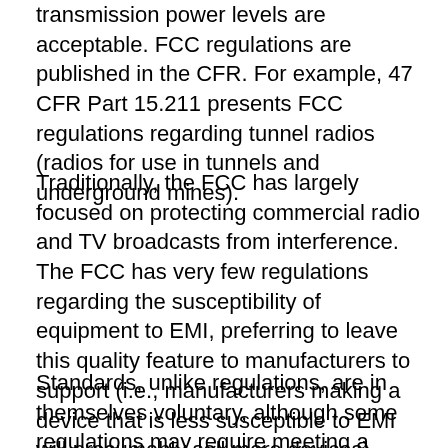transmission power levels are acceptable. FCC regulations are published in the CFR. For example, 47 CFR Part 15.211 presents FCC regulations regarding tunnel radios (radios for use in tunnels and underground mines).
Traditionally, the FCC has largely focused on protecting commercial radio and TV broadcasts from interference. The FCC has very few regulations regarding the susceptibility of equipment to EMI, preferring to leave this quality feature to manufacturers to support (i.e., manufacturers making a device that is less susceptible to EMI will presumably sell more devices).
Standards, unlike regulations, are in themselves voluntary, although some regulations may require meeting a specific standard. Standards aimed at minimizing RF interference tend to address EMC